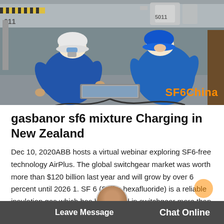[Figure (photo): Two workers in blue coveralls and white hard hats crouching on an industrial floor, working with equipment and a laptop. Watermark 'SF6China' in orange at bottom right.]
gasbanor sf6 mixture Charging in New Zealand
Dec 10, 2020ABB hosts a virtual webinar exploring SF6-free technology AirPlus. The global switchgear market was worth more than $120 billion last year and will grow by over 6 percent until 2026 1. SF 6 (Sulfur hexafluoride) is a reliable insulation gas which has been used in switchgear more than 50 years worldwide for its excellent insulation qualities
Leave Message   Chat Online